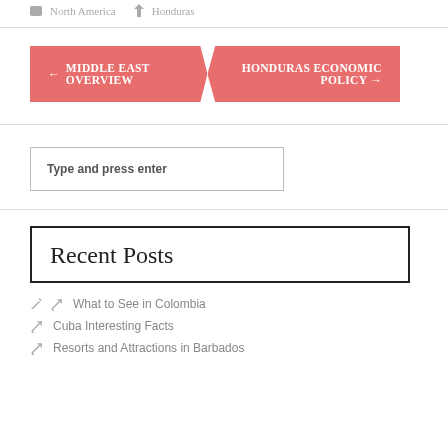North America  Honduras
← MIDDLE EAST OVERVIEW    HONDURAS ECONOMIC POLICY →
Type and press enter
Recent Posts
What to See in Colombia
Cuba Interesting Facts
Resorts and Attractions in Barbados